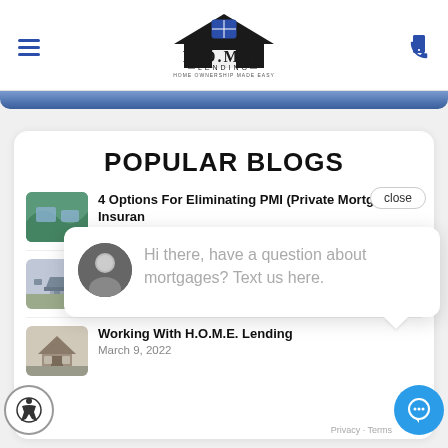[Figure (logo): H.O.M.E. Lending logo with house icon and text 'Home Ownership Made Easy']
POPULAR BLOGS
close
4 Options For Eliminating PMI (Private Mortgage Insurance) — May 5, 2...
The 5 M... — April 21, ...
Working With H.O.M.E. Lending — March 9, 2022
Hi there, have a question about mortgages? Text us here.